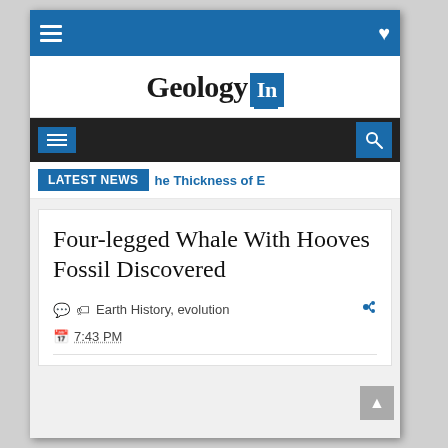Geology In - top navigation bar
Geology In
LATEST NEWS  he Thickness of E
Four-legged Whale With Hooves Fossil Discovered
Earth History, evolution
7:43 PM